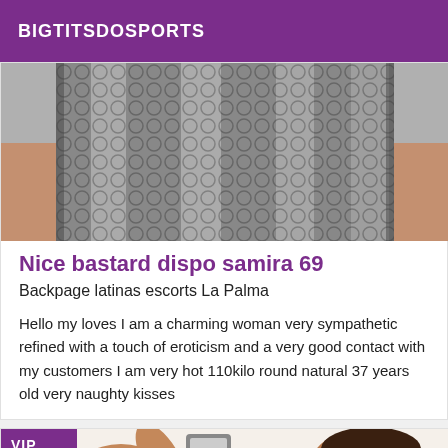BIGTITSDOSPORTS
[Figure (photo): Close-up photo of a person wearing fishnet/patterned clothing, dark and light tones]
Nice bastard dispo samira 69
Backpage latinas escorts La Palma
Hello my loves I am a charming woman very sympathetic refined with a touch of eroticism and a very good contact with my customers I am very hot 110kilo round natural 37 years old very naughty kisses
[Figure (photo): Woman taking a selfie, wearing orange top, photo taken in mirror, VIP badge in top-left corner]